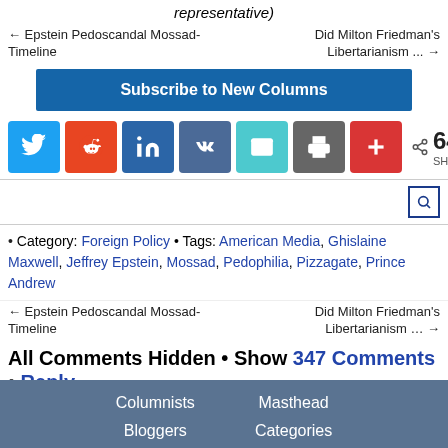representative)
← Epstein Pedoscandal Mossad-Timeline    Did Milton Friedman's Libertarianism ... →
Subscribe to New Columns
[Figure (infographic): Social sharing buttons: Twitter, Reddit, LinkedIn, VK, Email, Print, Plus, with 646 SHARES count]
• Category: Foreign Policy • Tags: American Media, Ghislaine Maxwell, Jeffrey Epstein, Mossad, Pedophilia, Pizzagate, Prince Andrew
← Epstein Pedoscandal Mossad-Timeline    Did Milton Friedman's Libertarianism ... →
All Comments Hidden • Show  347 Comments • Reply
Columnists  Masthead  Bloggers  Categories